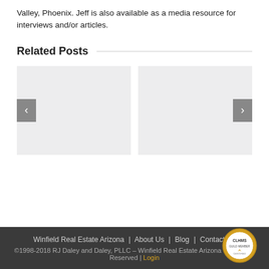Valley, Phoenix. Jeff is also available as a media resource for interviews and/or articles.
Related Posts
[Figure (screenshot): Two placeholder image cards for related posts, with left and right navigation arrow buttons]
Winfield Real Estate Arizona | About Us | Blog | Contact Us
©1998-2018 RJ Daley and Daley, PLLC – Winfield Real Estate Arizona - All Rights Reserved | Login